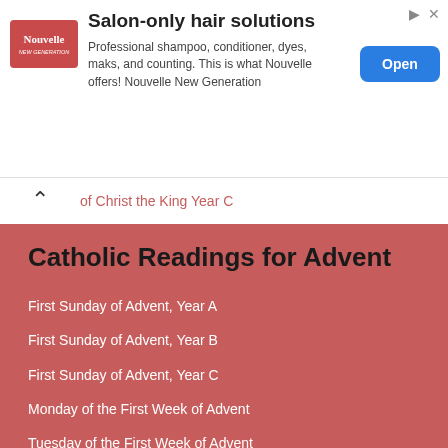[Figure (other): Advertisement banner for Nouvelle hair products. Shows Nouvelle logo, heading 'Salon-only hair solutions', body text about professional products, and an 'Open' button.]
of Christ the King Year C
Catholic Readings for Advent
First Sunday of Advent, Year A
First Sunday of Advent, Year B
First Sunday of Advent, Year C
Monday of the First Week of Advent
Tuesday of the First Week of Advent
Wednesday of the First Week of Advent